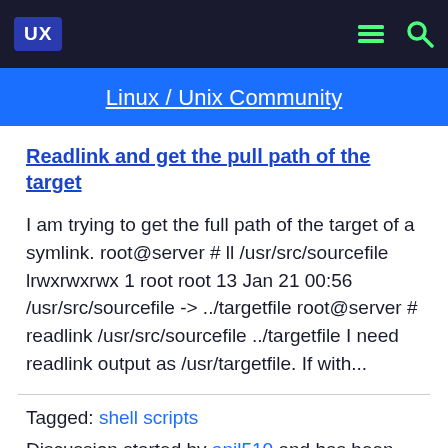UX | [menu icon] [search icon]
Linux / Unix Community
Readlink and get the pull path of the target
I am trying to get the full path of the target of a symlink. root@server # ll /usr/src/sourcefile lrwxrwxrwx 1 root root 13 Jan 21 00:56 /usr/src/sourcefile -> ../targetfile root@server # readlink /usr/src/sourcefile ../targetfile I need readlink output as /usr/targetfile. If with...
Tagged: shell scripts
Discussion started by anil510 and has been viewed